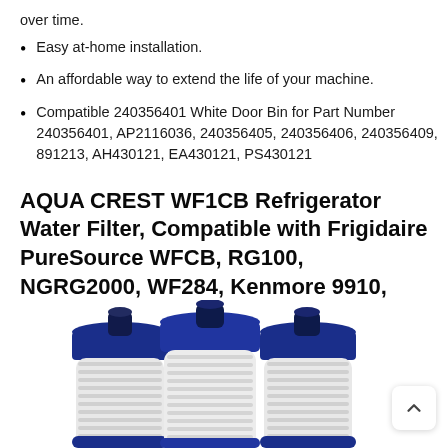over time.
Easy at-home installation.
An affordable way to extend the life of your machine.
Compatible 240356401 White Door Bin for Part Number 240356401, AP2116036, 240356405, 240356406, 240356409, 891213, AH430121, EA430121, PS430121
AQUA CREST WF1CB Refrigerator Water Filter, Compatible with Frigidaire PureSource WFCB, RG100, NGRG2000, WF284, Kenmore 9910, 469906, 469910 (Pack of 3)
[Figure (photo): Three blue cylindrical refrigerator water filters with blue caps shown from above at an angle, white filter media visible on the bodies.]